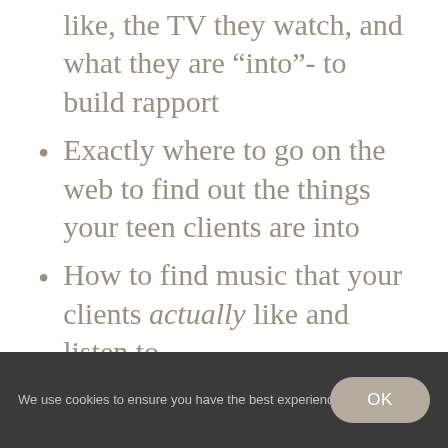like, the TV they watch, and what they are “into”- to build rapport
Exactly where to go on the web to find out the things your teen clients are into
How to find music that your clients actually like and listen to
A multitude of ways to empower teens by giving them
We use cookies to ensure you have the best experience on our site.